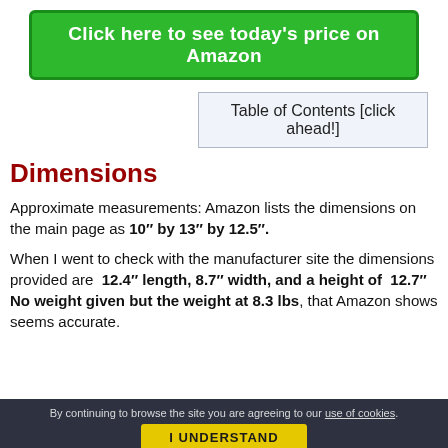[Figure (other): Green button: Click here to see today's price on Amazon]
Table of Contents [click ahead!]
Dimensions
Approximate measurements: Amazon lists the dimensions on the main page as 10" by 13" by 12.5".
When I went to check with the manufacturer site the dimensions provided are  12.4" length, 8.7" width, and a height of  12.7" No weight given but the weight at 8.3 lbs, that Amazon shows seems accurate.
By continuing to browse the site you are agreeing to our use of cookies. I UNDERSTAND